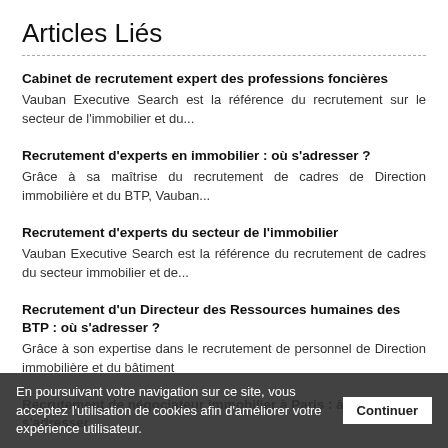Articles Liés
Cabinet de recrutement expert des professions foncières
Vauban Executive Search est la référence du recrutement sur le secteur de l'immobilier et du...
Recrutement d'experts en immobilier : où s'adresser ?
Grâce à sa maîtrise du recrutement de cadres de Direction immobilière et du BTP, Vauban...
Recrutement d'experts du secteur de l'immobilier
Vauban Executive Search est la référence du recrutement de cadres du secteur immobilier et de...
Recrutement d'un Directeur des Ressources humaines des BTP : où s'adresser ?
Grâce à son expertise dans le recrutement de personnel de Direction immobilière et du bâtiment
Recrutement de négociateur immobilier à Paris : à qui s'adresser
En poursuivant votre navigation sur ce site, vous acceptez l'utilisation de cookies afin d'améliorer votre expérience utilisateur. Continuer